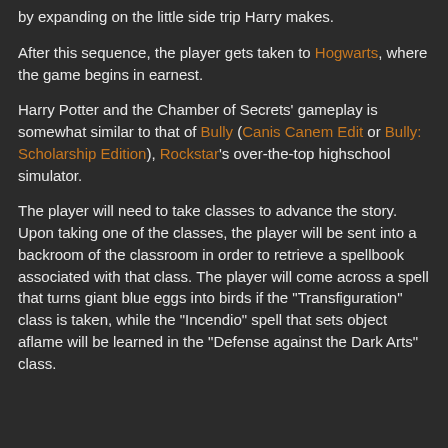by expanding on the little side trip Harry makes.
After this sequence, the player gets taken to Hogwarts, where the game begins in earnest.
Harry Potter and the Chamber of Secrets' gameplay is somewhat similar to that of Bully (Canis Canem Edit or Bully: Scholarship Edition), Rockstar's over-the-top highschool simulator.
The player will need to take classes to advance the story. Upon taking one of the classes, the player will be sent into a backroom of the classroom in order to retrieve a spellbook associated with that class. The player will come across a spell that turns giant blue eggs into birds if the "Transfiguration" class is taken, while the "Incendio" spell that sets object aflame will be learned in the "Defense against the Dark Arts" class.